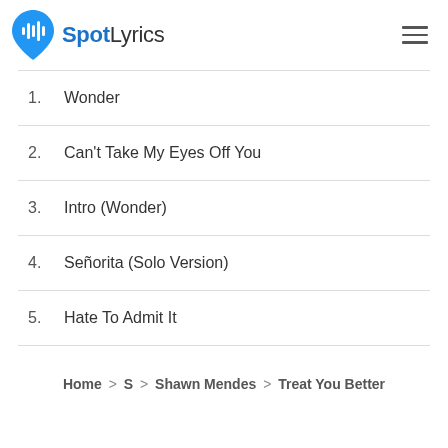SpotLyrics
1. Wonder
2. Can't Take My Eyes Off You
3. Intro (Wonder)
4. Señorita (Solo Version)
5. Hate To Admit It
Home > S > Shawn Mendes > Treat You Better